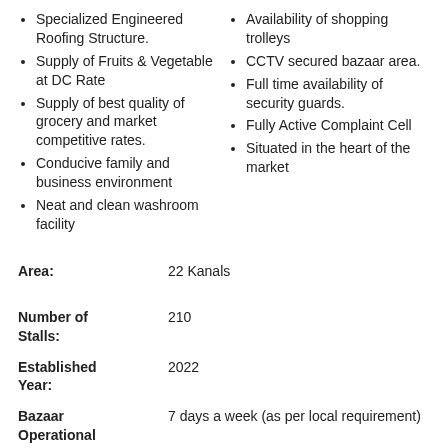Specialized Engineered Roofing Structure.
Supply of Fruits & Vegetable at DC Rate
Supply of best quality of grocery and market competitive rates.
Conducive family and business environment
Neat and clean washroom facility
Availability of shopping trolleys
CCTV secured bazaar area.
Full time availability of security guards.
Fully Active Complaint Cell
Situated in the heart of the market
Area: 22 Kanals
Number of Stalls: 210
Established Year: 2022
Bazaar Operational Days: 7 days a week (as per local requirement)